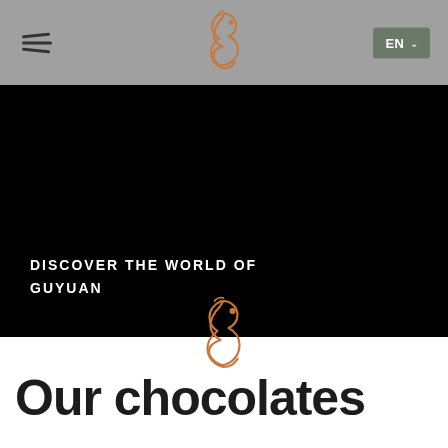Navigation header with hamburger menu, Guyuan seahorse logo, and EN language selector
[Figure (logo): Guyuan seahorse logo in copper/orange color, centered in the grey header bar]
DISCOVER THE WORLD OF GUYUAN
[Figure (logo): Guyuan seahorse logo in copper/orange color, centered between dark and white sections]
Our chocolates